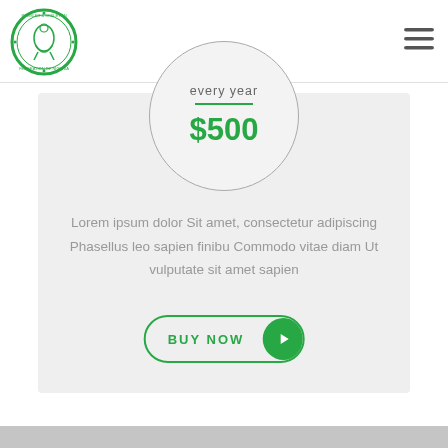[Figure (logo): Bobsled & Skeleton Federation of Nigeria circular logo with green border and skater icon]
[Figure (other): Hamburger menu icon (three horizontal lines)]
every year
$500
Lorem ipsum dolor Sit amet, consectetur adipiscing Phasellus leo sapien finibu Commodo vitae diam Ut vulputate sit amet sapien
[Figure (other): BUY NOW button with green play icon circle on right]